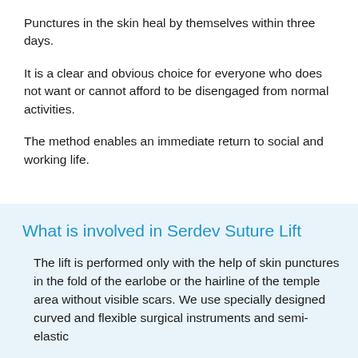Punctures in the skin heal by themselves within three days.
It is a clear and obvious choice for everyone who does not want or cannot afford to be disengaged from normal activities.
The method enables an immediate return to social and working life.
What is involved in Serdev Suture Lift
The lift is performed only with the help of skin punctures in the fold of the earlobe or the hairline of the temple area without visible scars. We use specially designed curved and flexible surgical instruments and semi-elastic